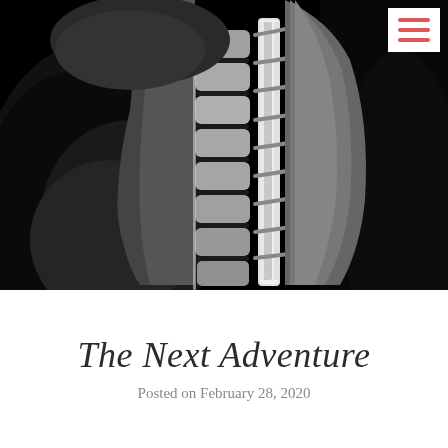[Figure (photo): Black and white MRI scan showing a sagittal view of the cervical and upper thoracic spine. The vertebrae, intervertebral discs, and spinal cord are clearly visible in high contrast. The image has a painterly/enhanced quality with dark background.]
The Next Adventure
Posted on February 28, 2020